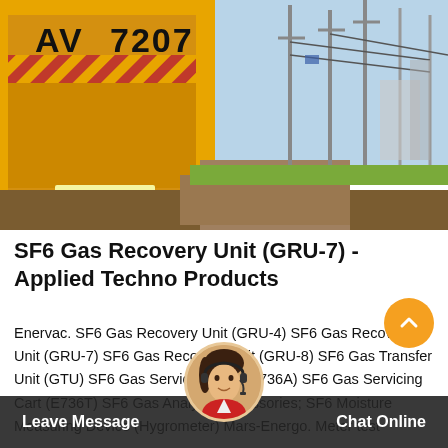[Figure (photo): Yellow service truck (marked RAV 7207) parked at an electrical substation site, with a hose on the ground, dirt/berm area, and substation poles and equipment visible in the background under a blue sky.]
SF6 Gas Recovery Unit (GRU-7) - Applied Techno Products
Enervac. SF6 Gas Recovery Unit (GRU-4) SF6 Gas Recovery Unit (GRU-7) SF6 Gas Recovery Unit (GRU-8) SF6 Gas Transfer Unit (GTU) SF6 Gas Servicing Cart (E736A) SF6 Gas Servicing Cart (E736T) SF6 Gas Analysis Accessories; SF6 Moisture Measuring Device (Hygrometer) Mars-Energo. Meter test